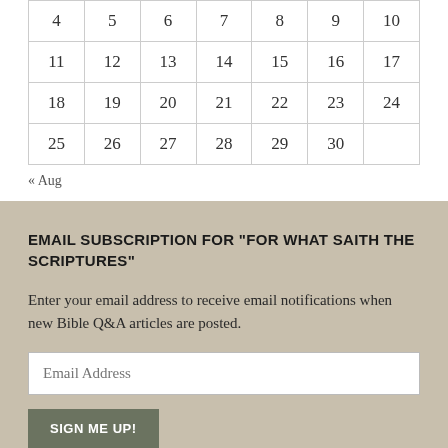| 4 | 5 | 6 | 7 | 8 | 9 | 10 |
| 11 | 12 | 13 | 14 | 15 | 16 | 17 |
| 18 | 19 | 20 | 21 | 22 | 23 | 24 |
| 25 | 26 | 27 | 28 | 29 | 30 |  |
« Aug
EMAIL SUBSCRIPTION FOR "FOR WHAT SAITH THE SCRIPTURES"
Enter your email address to receive email notifications when new Bible Q&A articles are posted.
Email Address
SIGN ME UP!